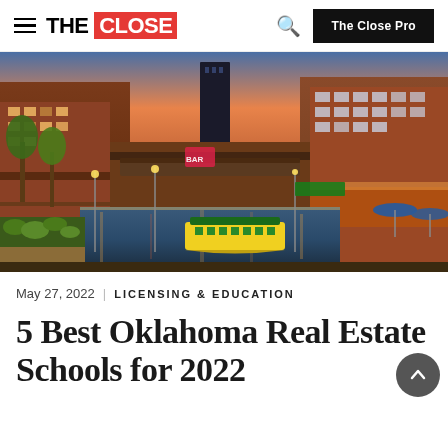THE CLOSE | The Close Pro
[Figure (photo): Aerial night view of Bricktown canal in Oklahoma City with illuminated brick buildings, boats on the water, walkways with greenery, and blue umbrellas on a restaurant patio]
May 27, 2022 | LICENSING & EDUCATION
5 Best Oklahoma Real Estate Schools for 2022